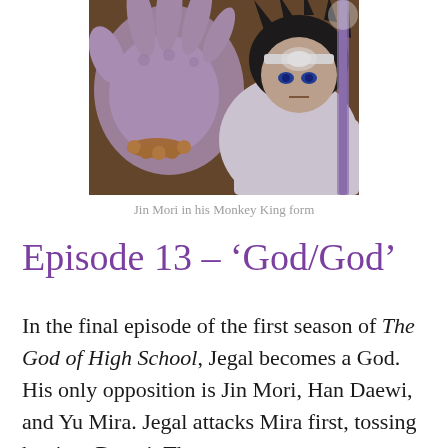[Figure (illustration): Anime screenshot of Jin Mori in his Monkey King form, reaching out with a purple-toned hand, wearing white robes with a glowing headband, holding a staff]
Jin Mori in his Monkey King form
Episode 13 – ‘God/God’
In the final episode of the first season of The God of High School, Jegal becomes a God. His only opposition is Jin Mori, Han Daewi, and Yu Mira. Jegal attacks Mira first, tossing her into Daewi. The two put